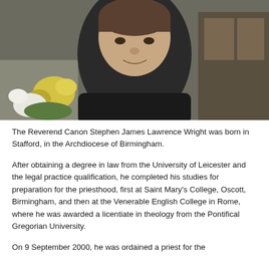[Figure (photo): Portrait photograph of The Reverend Canon Stephen James Lawrence Wright, a middle-aged man in clerical black attire with a white collar, smiling, with church architecture and yellow and white flowers visible in the background.]
The Reverend Canon Stephen James Lawrence Wright was born in Stafford, in the Archdiocese of Birmingham.
After obtaining a degree in law from the University of Leicester and the legal practice qualification, he completed his studies for preparation for the priesthood, first at Saint Mary's College, Oscott, Birmingham, and then at the Venerable English College in Rome, where he was awarded a licentiate in theology from the Pontifical Gregorian University.
On 9 September 2000, he was ordained a priest for the